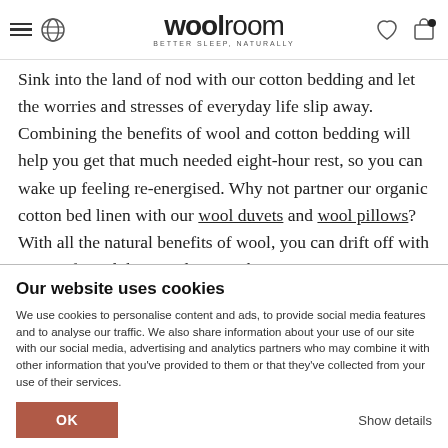woolroom — BETTER SLEEP, NATURALLY
Sink into the land of nod with our cotton bedding and let the worries and stresses of everyday life slip away. Combining the benefits of wool and cotton bedding will help you get that much needed eight-hour rest, so you can wake up feeling re-energised. Why not partner our organic cotton bed linen with our wool duvets and wool pillows? With all the natural benefits of wool, you can drift off with peace of mind that Woolroom is here to ensure
Our website uses cookies
We use cookies to personalise content and ads, to provide social media features and to analyse our traffic. We also share information about your use of our site with our social media, advertising and analytics partners who may combine it with other information that you've provided to them or that they've collected from your use of their services.
OK
Show details